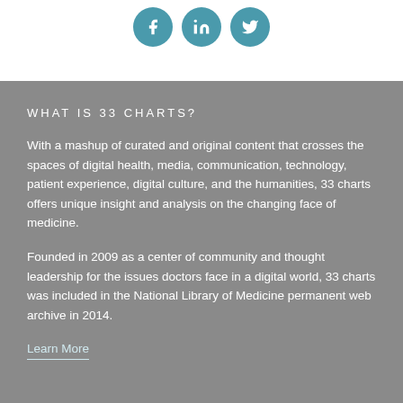[Figure (illustration): Three circular social media icon buttons (Facebook, LinkedIn, Twitter) in teal/blue color on white background]
WHAT IS 33 CHARTS?
With a mashup of curated and original content that crosses the spaces of digital health, media, communication, technology, patient experience, digital culture, and the humanities, 33 charts offers unique insight and analysis on the changing face of medicine.
Founded in 2009 as a center of community and thought leadership for the issues doctors face in a digital world, 33 charts was included in the National Library of Medicine permanent web archive in 2014.
Learn More